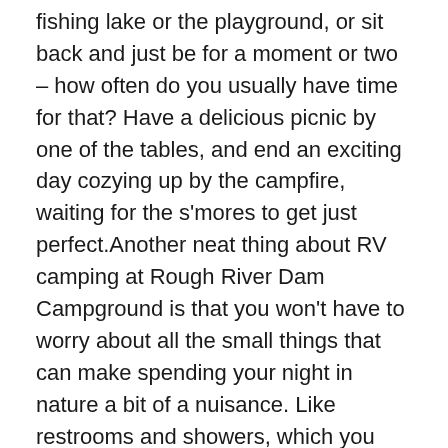fishing lake or the playground, or sit back and just be for a moment or two – how often do you usually have time for that? Have a delicious picnic by one of the tables, and end an exciting day cozying up by the campfire, waiting for the s'mores to get just perfect.Another neat thing about RV camping at Rough River Dam Campground is that you won't have to worry about all the small things that can make spending your night in nature a bit of a nuisance. Like restrooms and showers, which you have easy access to at the RV park, or water, or a dump station. You might also find a pull-through site, and there are electric hookups for your motorhome rental.When you rent a camper near Rough River Dam Campground, you'll also be able to visit all the amazing places in the area. Like nearby Falls of Rough, or the city of Leitchfield, both with lots of fun things going on. You can also drive to the downtown of Campground. Elizabeth you can do